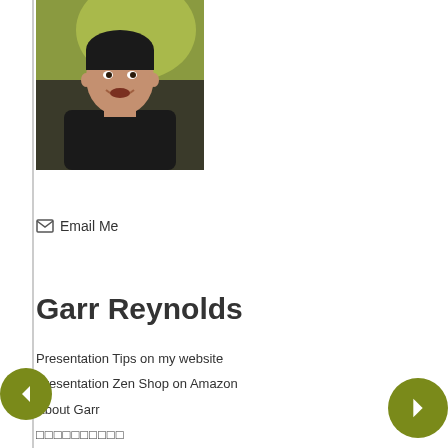[Figure (photo): Portrait photo of a man in a black t-shirt, smiling, with a blurred green/yellow background]
✉ Email Me
Garr Reynolds
Presentation Tips on my website
Presentation Zen Shop on Amazon
About Garr
□□□□□□□□□□
□□□□□□□□
□□□□□□□□□□ [□□□]
□□□□□□□□□□□□